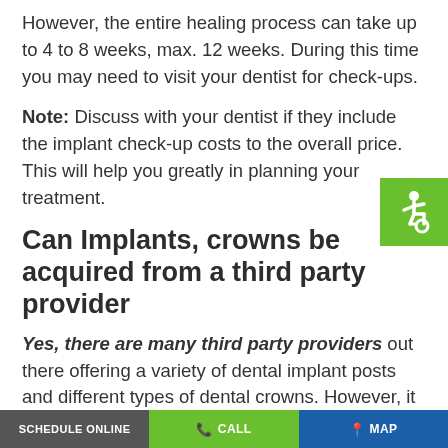However, the entire healing process can take up to 4 to 8 weeks, max. 12 weeks. During this time you may need to visit your dentist for check-ups.
Note: Discuss with your dentist if they include the implant check-up costs to the overall price. This will help you greatly in planning your treatment.
[Figure (illustration): Green square accessibility icon with white wheelchair symbol]
Can Implants, crowns be acquired from a third party provider
Yes, there are many third party providers out there offering a variety of dental implant posts and different types of dental crowns. However, it can be a challenge f...
SCHEDULE ONLINE | CALL | MAP